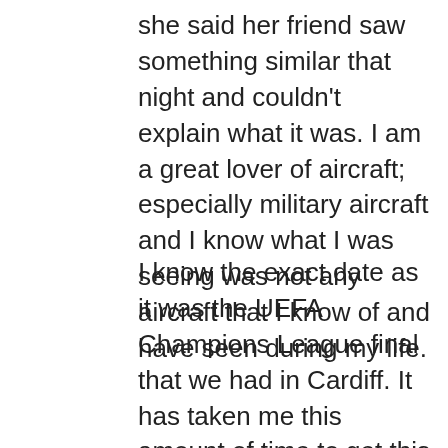she said her friend saw something similar that night and couldn't explain what it was. I am a great lover of aircraft; especially military aircraft and I know what I was seeing was not any aircraft that I know of and have seen during my life.
I know the exact date as it was the UEFA Champions League final that we had in Cardiff. It has taken me this amount of time to get this out because I have just been baffled by the whole incident and I did not know